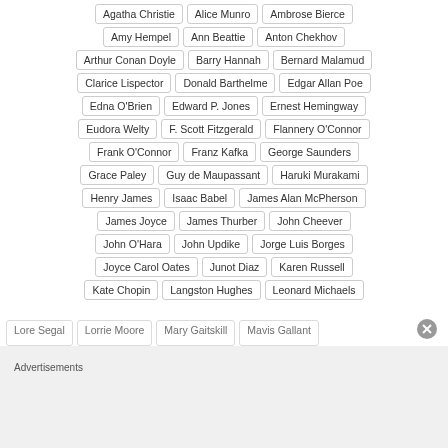Agatha Christie
Alice Munro
Ambrose Bierce
Amy Hempel
Ann Beattie
Anton Chekhov
Arthur Conan Doyle
Barry Hannah
Bernard Malamud
Clarice Lispector
Donald Barthelme
Edgar Allan Poe
Edna O'Brien
Edward P. Jones
Ernest Hemingway
Eudora Welty
F. Scott Fitzgerald
Flannery O'Connor
Frank O'Connor
Franz Kafka
George Saunders
Grace Paley
Guy de Maupassant
Haruki Murakami
Henry James
Isaac Babel
James Alan McPherson
James Joyce
James Thurber
John Cheever
John O'Hara
John Updike
Jorge Luis Borges
Joyce Carol Oates
Junot Diaz
Karen Russell
Kate Chopin
Langston Hughes
Leonard Michaels
Advertisements